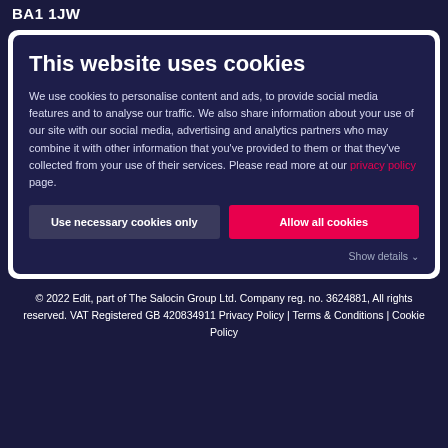BA1 1JW
This website uses cookies
We use cookies to personalise content and ads, to provide social media features and to analyse our traffic. We also share information about your use of our site with our social media, advertising and analytics partners who may combine it with other information that you've provided to them or that they've collected from your use of their services. Please read more at our privacy policy page.
Use necessary cookies only
Allow all cookies
Show details
© 2022 Edit, part of The Salocin Group Ltd. Company reg. no. 3624881, All rights reserved. VAT Registered GB 420834911 Privacy Policy | Terms & Conditions | Cookie Policy